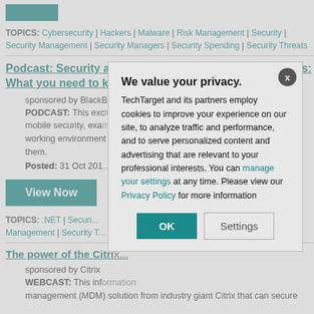[Figure (other): Green button at top of page (partially visible)]
TOPICS: Cybersecurity | Hackers | Malware | Risk Management | Security | Security Management | Security Managers | Security Spending | Security Threats
Podcast: Security across your enterprise mobile devices: What you need to know
sponsored by BlackBerry
PODCAST: This exclusive podcast discusses the current state of mobile security, exa... working environment... them.
Posted: 31 Oct 201...
[Figure (other): View Now green button]
TOPICS: .NET | Securi... Management | Security T...
The power of the Citri...
sponsored by Citrix
WEBCAST: This info... management (MDM) solution from industry giant Citrix that can secure
[Figure (other): Privacy consent modal dialog overlay. Title: We value your privacy. Body text: TechTarget and its partners employ cookies to improve your experience on our site, to analyze traffic and performance, and to serve personalized content and advertising that are relevant to your professional interests. You can manage your settings at any time. Please view our Privacy Policy for more information. Buttons: OK, Settings.]